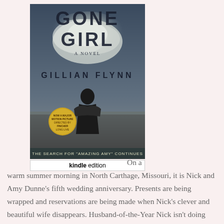[Figure (illustration): Book cover of 'Gone Girl' by Gillian Flynn. Dark moody cover with a silhouette of a man with his back turned, standing on a shore. Text reads 'GONE GIRL A NOVEL GILLIAN FLYNN'. Gold circular badge on the left. Bottom strip reads 'THE SEARCH FOR AMAZING AMY CONTINUES'. Below the cover image is a white tag reading 'kindle edition'.]
On a warm summer morning in North Carthage, Missouri, it is Nick and Amy Dunne's fifth wedding anniversary. Presents are being wrapped and reservations are being made when Nick's clever and beautiful wife disappears. Husband-of-the-Year Nick isn't doing himself any favors with cringe-worthy daydreams about the slope and shape of his wife's head, but passages from Amy's diary reveal the alpha-girl perfectionist could have put